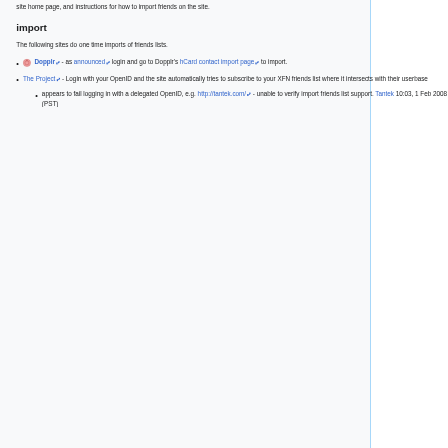site home page, and instructions for how to import friends on the site.
import
The following sites do one time imports of friends lists.
Dopplr - as announced login and go to Dopplr's hCard contact import page to import.
The Project - Login with your OpenID and the site automatically tries to subscribe to your XFN friends list where it intersects with their userbase
appears to fail logging in with a delegated OpenID, e.g. http://tantek.com/ - unable to verify import friends list support. Tantek 10:03, 1 Feb 2008 (PST)